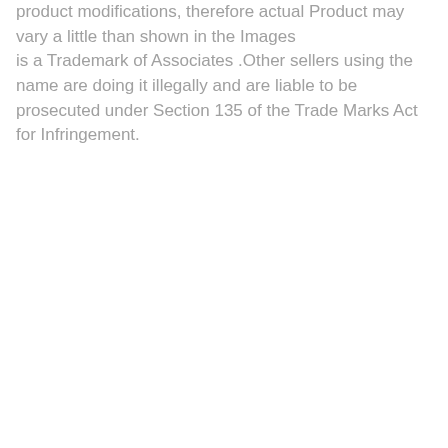product modifications, therefore actual Product may vary a little than shown in the Images
is a Trademark of Associates .Other sellers using the name are doing it illegally and are liable to be prosecuted under Section 135 of the Trade Marks Act for Infringement.